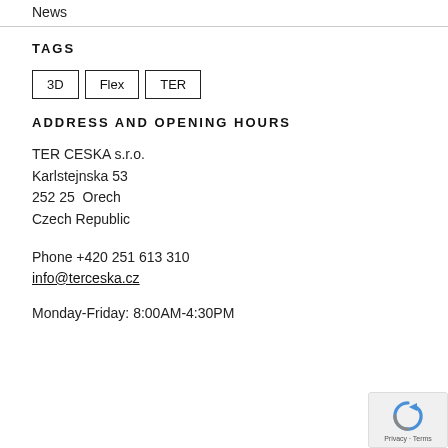News
TAGS
3D
Flex
TER
ADDRESS AND OPENING HOURS
TER CESKA s.r.o.
Karlstejnska 53
252 25  Orech
Czech Republic
Phone +420 251 613 310
info@terceska.cz
Monday-Friday: 8:00AM-4:30PM